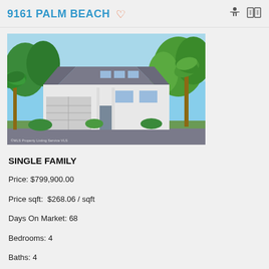9161 PALM BEACH
[Figure (photo): Exterior rendering of a single-family home with white facade, hip roof, garage, palm trees, and landscaping against a blue sky]
SINGLE FAMILY
Price: $799,900.00
Price sqft:  $268.06 / sqft
Days On Market: 68
Bedrooms: 4
Baths: 4
Garage / Parking Spaces: 3
Bldg sqft: 2984